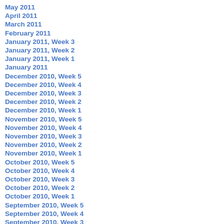May 2011
April 2011
March 2011
February 2011
January 2011, Week 3
January 2011, Week 2
January 2011, Week 1
January 2011
December 2010, Week 5
December 2010, Week 4
December 2010, Week 3
December 2010, Week 2
December 2010, Week 1
November 2010, Week 5
November 2010, Week 4
November 2010, Week 3
November 2010, Week 2
November 2010, Week 1
October 2010, Week 5
October 2010, Week 4
October 2010, Week 3
October 2010, Week 2
October 2010, Week 1
September 2010, Week 5
September 2010, Week 4
September 2010, Week 3
September 2010, Week 2
September 2010, Week 1
August 2010, Week 5
August 2010, Week 4